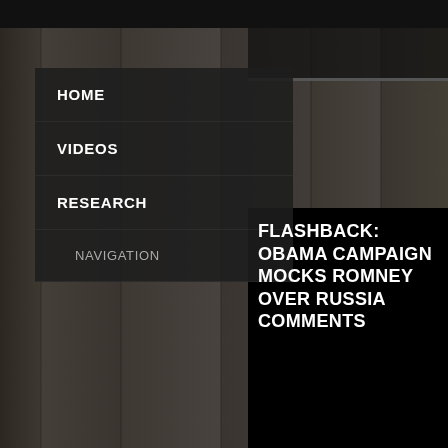HOME
VIDEOS
RESEARCH
NAVIGATION
FLASHBACK: OBAMA CAMPAIGN MOCKS ROMNEY OVER RUSSIA COMMENTS